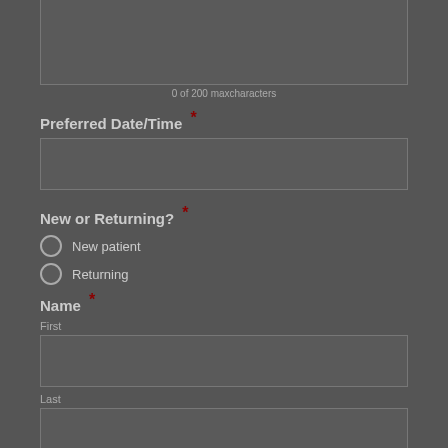[Figure (screenshot): Top portion of a partially visible text input box (textarea)]
0 of 200 maxcharacters
Preferred Date/Time *
[Figure (screenshot): Empty text input field for Preferred Date/Time]
New or Returning? *
New patient
Returning
Name *
First
[Figure (screenshot): Empty text input field for First name]
Last
[Figure (screenshot): Empty text input field for Last name]
Confirm *